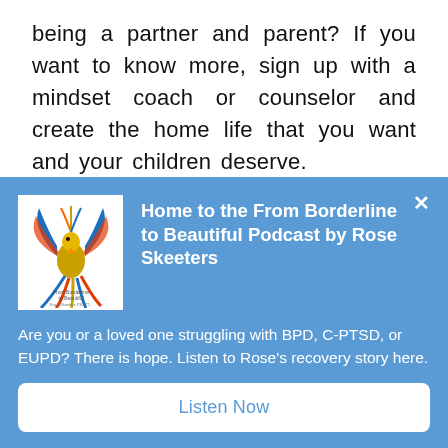being a partner and parent? If you want to know more, sign up with a mindset coach or counselor and create the home life that you want and your children deserve.
[Figure (illustration): Phoenix bird illustration on white background — podcast cover art for 'From Borderline to Beautiful' by Rose Skeeters]
Home to the From Borderline to Beautiful Podcast by Rose Skeeters
Are you or a loved one struggling with BPD, C-PTSD, or EUPD? There is hope. Listen to Rose's recovery story here.
Listen Now